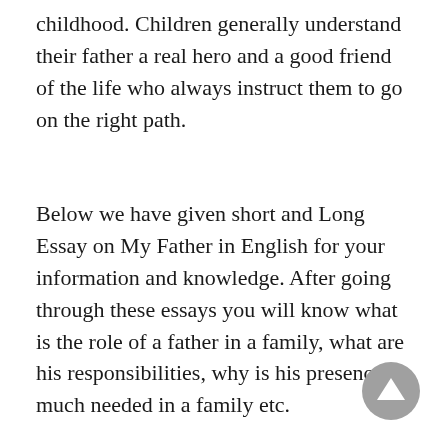childhood. Children generally understand their father a real hero and a good friend of the life who always instruct them to go on the right path.
Below we have given short and Long Essay on My Father in English for your information and knowledge. After going through these essays you will know what is the role of a father in a family, what are his responsibilities, why is his presence much needed in a family etc.